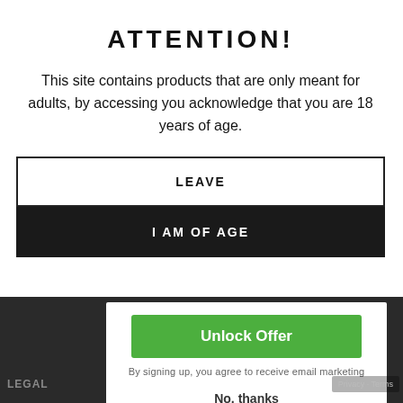ATTENTION!
This site contains products that are only meant for adults, by accessing you acknowledge that you are 18 years of age.
LEAVE
I AM OF AGE
Unlock Offer
By signing up, you agree to receive email marketing
No, thanks
LEGAL
Privacy · Terms